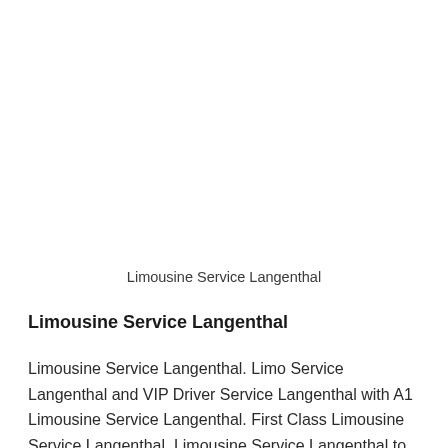Limousine Service Langenthal
Limousine Service Langenthal
Limousine Service Langenthal. Limo Service Langenthal and VIP Driver Service Langenthal with A1 Limousine Service Langenthal. First Class Limousine Service Langenthal. Limousine Service Langenthal to